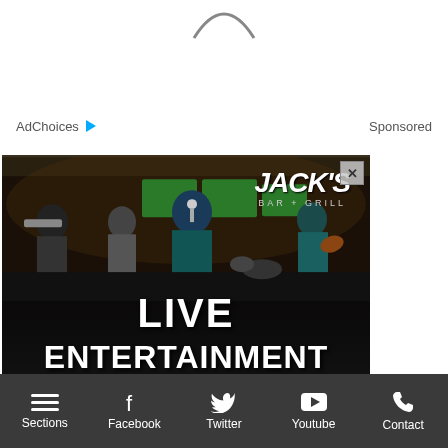[Figure (logo): Partial logo arc/smile at top center of page]
AdChoices ▷
Sponsored
[Figure (photo): Advertisement for Jack's Bar+Grill featuring a live band performance on stage with text LIVE ENTERTAINMENT and a close button X in top right corner]
Sections  Facebook  Twitter  Youtube  Contact